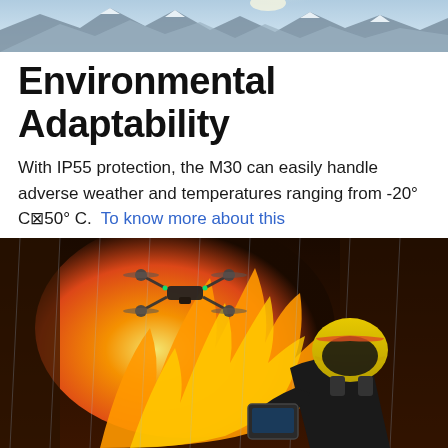[Figure (photo): Mountain landscape with snowy peaks and sunlight, used as a top banner image.]
Environmental Adaptability
With IP55 protection, the M30 can easily handle adverse weather and temperatures ranging from -20° C⊠50° C.  To know more about this
[Figure (photo): A firefighter in protective gear with a yellow helmet operating a DJI M30 drone remote controller, with a large fire burning in the background and rain. Two green app icons (WhatsApp and a chat icon) are overlaid in the bottom right corner.]